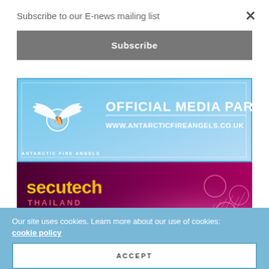Subscribe to our E-news mailing list
Subscribe
[Figure (infographic): Antarctic Fire Angels Official Media Partner banner with logo, wings, and shield emblem. Text: OFFICIAL MEDIA PARTNER / WWW.ANTARCTICFIREANGELS.CO.UK]
[Figure (infographic): Secutech Thailand banner with dark magenta background and glowing network icons. Text: secutech THAILAND / 30 Nov - 2 Dec 2022 / Bangkok, Thailand]
Our site uses cookies. Learn more about our use of cookies: cookie policy
ACCEPT